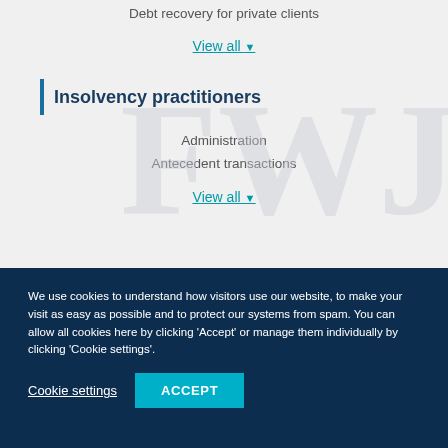Debt recovery for private clients
View all ▾
Insolvency practitioners
Administration
Antecedent transactions
View all ▾
We use cookies to understand how visitors use our website, to make your visit as easy as possible and to protect our systems from spam. You can allow all cookies here by clicking 'Accept' or manage them individually by clicking 'Cookie settings'.
Cookie settings
ACCEPT